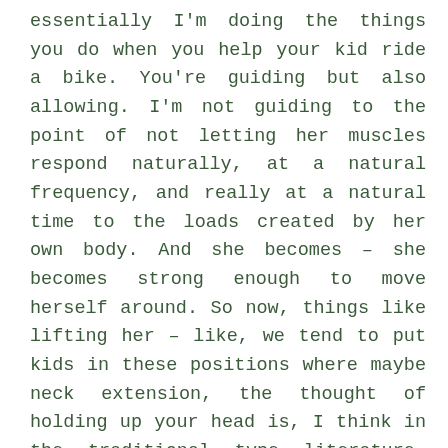essentially I'm doing the things you do when you help your kid ride a bike. You're guiding but also allowing. I'm not guiding to the point of not letting her muscles respond naturally, at a natural frequency, and really at a natural time to the loads created by her own body. And she becomes – she becomes strong enough to move herself around. So now, things like lifting her – like, we tend to put kids in these positions where maybe neck extension, the thought of holding up your head is, I think in the traditional type literature, well, help them work on their neck strength when they're prone, which is face-down, like tummy time for holding up their head. I'm like, but that is when they have become extremely heavy – they put on lots of weight pretty quickly, so then